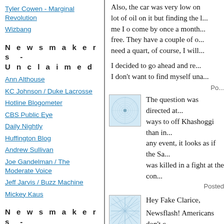Tyler Cowen - Marginal Revolution
Wizbang
Newsmakers - Unclaimed
Ann Althouse
KC Johnson / Duke Lacrosse
Hotline Blogometer
CBS Public Eye
Daily Nightly
Huffington Blog
Andrew Sullivan
Joe Gandelman / The Moderate Voice
Jeff Jarvis / Buzz Machine
Mickey Kaus
Newsmakers - Left
Blog For America (And Dean)
Also, the car was very low on oil on it but finding the l... me I o come by once a month... free. They have a couple of o... need a quart, of course, I will...
I decided to go ahead and re... I don't want to find myself una...
Posted
[Figure (illustration): Small square avatar image with circular spiral/mandala pattern on light blue background]
The question was directed at... ways to off Khashoggi than in... any event, it looks as if the Sa... was killed in a fight at the con...
Posted
[Figure (illustration): Small square avatar image with geometric web/network pattern on light blue background]
Hey Fake Clarice,
Newsflash! Americans don't c... at least no negative feelings a... Americans are involved, let th... something to do.